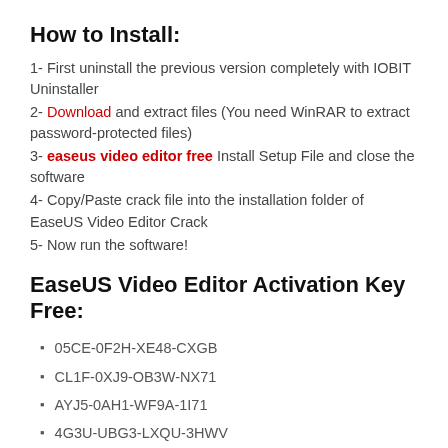How to Install:
1- First uninstall the previous version completely with IOBIT Uninstaller
2- Download and extract files (You need WinRAR to extract password-protected files)
3- easeus video editor free Install Setup File and close the software
4- Copy/Paste crack file into the installation folder of EaseUS Video Editor Crack
5- Now run the software!
EaseUS Video Editor Activation Key Free:
05CE-0F2H-XE48-CXGB
CL1F-0XJ9-OB3W-NX71
AYJ5-0AH1-WF9A-1I71
4G3U-UBG3-LXQU-3HWV